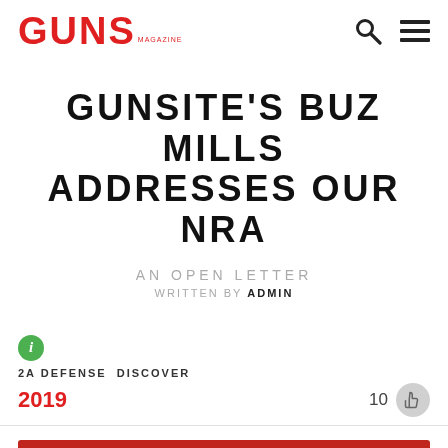GUNS MAGAZINE
GUNSITE'S BUZ MILLS ADDRESSES OUR NRA
AN OPEN LETTER
WRITTEN BY ADMIN
2A DEFENSE DISCOVER
2019
10
[Figure (photo): Red banner image with white text reading OUR NRA, partial view at bottom of page]